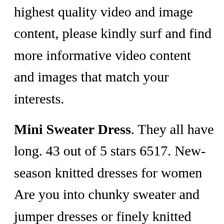highest quality video and image content, please kindly surf and find more informative video content and images that match your interests.
Mini Sweater Dress. They all have long. 43 out of 5 stars 6517. New-season knitted dresses for women Are you into chunky sweater and jumper dresses or finely knitted jersey styles. Style Deals - A knit mini sweater dress featuring a ribbed mock neck and long sleeves.